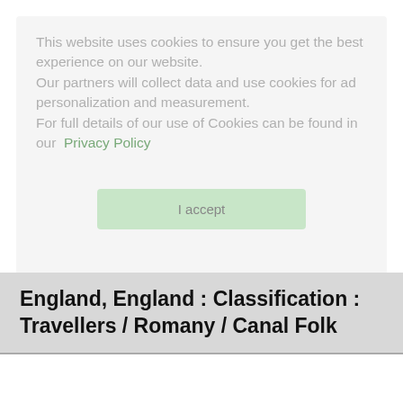This website uses cookies to ensure you get the best experience on our website. Our partners will collect data and use cookies for ad personalization and measurement. For full details of our use of Cookies can be found in our Privacy Policy
I accept
England, England : Classification : Travellers / Romany / Canal Folk